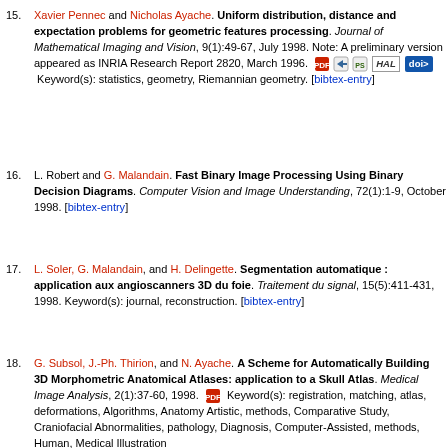15. Xavier Pennec and Nicholas Ayache. Uniform distribution, distance and expectation problems for geometric features processing. Journal of Mathematical Imaging and Vision, 9(1):49-67, July 1998. Note: A preliminary version appeared as INRIA Research Report 2820, March 1996. [icons] Keyword(s): statistics, geometry, Riemannian geometry. [bibtex-entry]
16. L. Robert and G. Malandain. Fast Binary Image Processing Using Binary Decision Diagrams. Computer Vision and Image Understanding, 72(1):1-9, October 1998. [bibtex-entry]
17. L. Soler, G. Malandain, and H. Delingette. Segmentation automatique : application aux angioscanners 3D du foie. Traitement du signal, 15(5):411-431, 1998. Keyword(s): journal, reconstruction. [bibtex-entry]
18. G. Subsol, J.-Ph. Thirion, and N. Ayache. A Scheme for Automatically Building 3D Morphometric Anatomical Atlases: application to a Skull Atlas. Medical Image Analysis, 2(1):37-60, 1998. [PDF icon] Keyword(s): registration, matching, atlas, deformations, Algorithms, Anatomy Artistic, methods, Comparative Study, Craniofacial Abnormalities, pathology, Diagnosis, Computer-Assisted, methods, Human, Medical Illustration